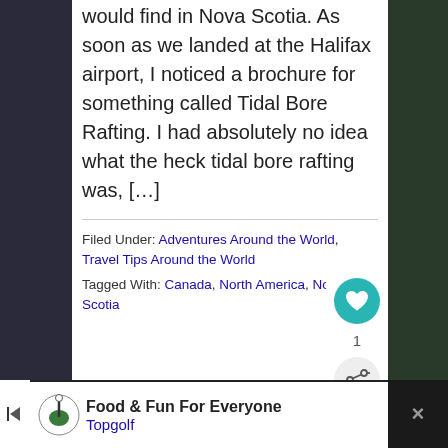would find in Nova Scotia. As soon as we landed at the Halifax airport, I noticed a brochure for something called Tidal Bore Rafting. I had absolutely no idea what the heck tidal bore rafting was, […]
Filed Under: Adventures Around the World, Travel Tips Around the World
Tagged With: Canada, North America, Nova Scotia
Biking Death Road Bolivia Review + Tips
[Figure (other): Topgolf advertisement banner with logo, 'Food & Fun For Everyone' text, and navigation arrow icon]